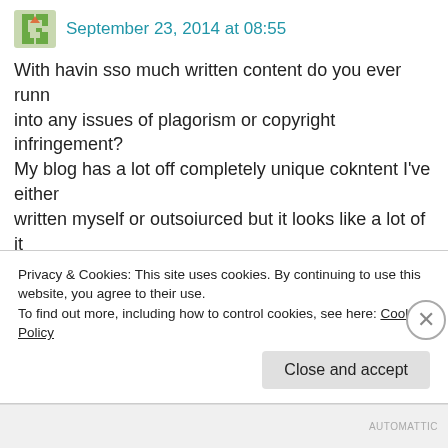September 23, 2014 at 08:55
With havin sso much written content do you ever runn into any issues of plagorism or copyright infringement?
My blog has a lot off completely unique cokntent I've either
written myself or outsoiurced but it looks like a lot of it
is popping it up all ovrr the internet without my permission. Do yyou know any solutions
to help protect against content from being ripped off?
I'd genuinely appreciate it
Privacy & Cookies: This site uses cookies. By continuing to use this website, you agree to their use.
To find out more, including how to control cookies, see here: Cookie Policy
Close and accept